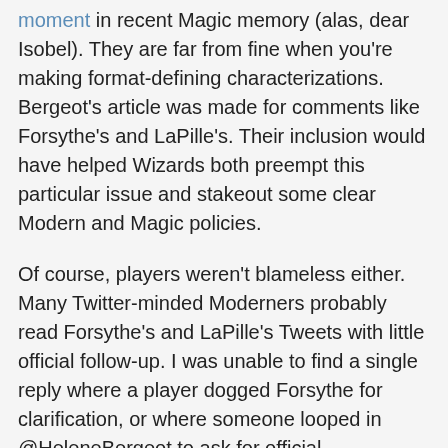moment in recent Magic memory (alas, dear Isobel). They are far from fine when you're making format-defining characterizations. Bergeot's article was made for comments like Forsythe's and LaPille's. Their inclusion would have helped Wizards both preempt this particular issue and stakeout some clear Modern and Magic policies.
Of course, players weren't blameless either. Many Twitter-minded Moderners probably read Forsythe's and LaPille's Tweets with little official follow-up. I was unable to find a single reply where a player dogged Forsythe for clarification, or where someone looped in @HeleneBergeot to ask for official confirmation. No authors published articles about the communication gap, and player outrage immediately died down, despite Forsythe's and LaPille's bombshells just sitting there, still